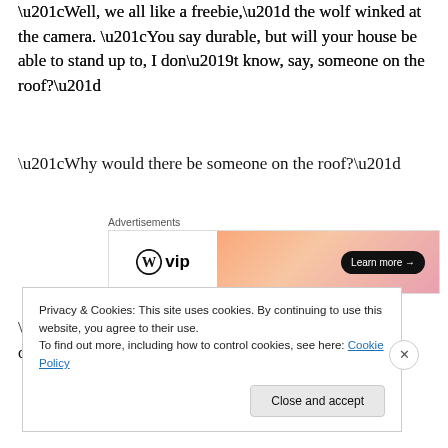“Well, we all like a freebie,” the wolf winked at the camera. “You say durable, but will your house be able to stand up to, I don’t know, say, someone on the roof?”
“Why would there be someone on the roof?”
[Figure (other): WordPress VIP advertisement banner with orange-pink gradient and a Learn more button]
“I don’t know; I don’t write the questions.”
Privacy & Cookies: This site uses cookies. By continuing to use this website, you agree to their use.
To find out more, including how to control cookies, see here: Cookie Policy